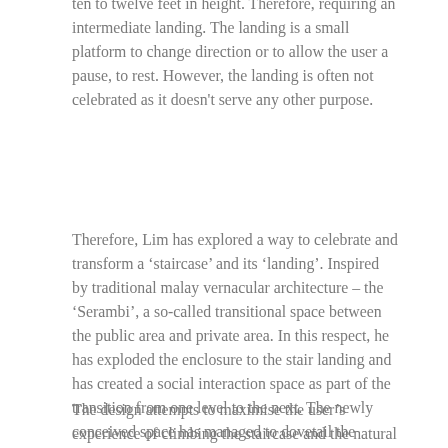ten to twelve feet in height. Therefore, requiring an intermediate landing. The landing is a small platform to change direction or to allow the user a pause, to rest. However, the landing is often not celebrated as it doesn't serve any other purpose.
Therefore, Lim has explored a way to celebrate and transform a 'staircase' and its 'landing'. Inspired by traditional malay vernacular architecture – the 'Serambi', a so-called transitional space between the public area and private area. In this respect, he has exploded the enclosure to the stair landing and has created a social interaction space as part of the transition from one level to the next. The newly conceived space has managed to dovetail the traditional malay icon into a modern context. From a non-descript and utilitarian space, it has now become a focus point and emulate the social space of traditional malay houses.
The design attempts to maximise the user's experience of climbing the staircase and the natural environment surrounding it. The wooden structure peeped out from the